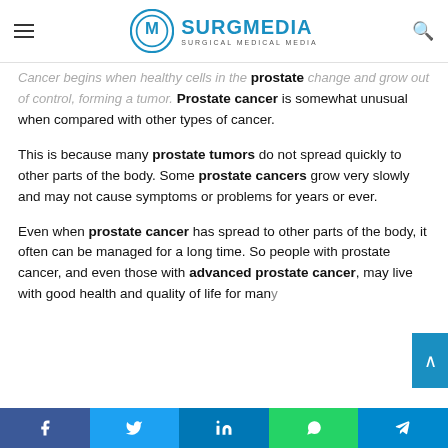SURGMEDIA - Surgical Medical Media
Cancer begins when healthy cells in the prostate change and grow out of control, forming a tumor. Prostate cancer is somewhat unusual when compared with other types of cancer.
This is because many prostate tumors do not spread quickly to other parts of the body. Some prostate cancers grow very slowly and may not cause symptoms or problems for years or ever.
Even when prostate cancer has spread to other parts of the body, it often can be managed for a long time. So people with prostate cancer, and even those with advanced prostate cancer, may live with good health and quality of life for many
Facebook  Twitter  LinkedIn  WhatsApp  Telegram